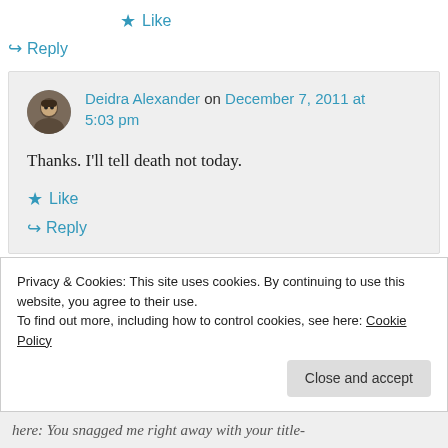★ Like
↪ Reply
Deidra Alexander on December 7, 2011 at 5:03 pm
Thanks. I'll tell death not today.
★ Like
↪ Reply
Privacy & Cookies: This site uses cookies. By continuing to use this website, you agree to their use. To find out more, including how to control cookies, see here: Cookie Policy
Close and accept
here: You snagged me right away with your title-